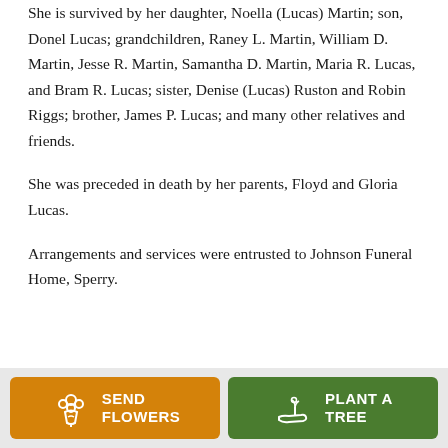She is survived by her daughter, Noella (Lucas) Martin; son, Donel Lucas; grandchildren, Raney L. Martin, William D. Martin, Jesse R. Martin, Samantha D. Martin, Maria R. Lucas, and Bram R. Lucas; sister, Denise (Lucas) Ruston and Robin Riggs; brother, James P. Lucas; and many other relatives and friends.
She was preceded in death by her parents, Floyd and Gloria Lucas.
Arrangements and services were entrusted to Johnson Funeral Home, Sperry.
[Figure (infographic): Two call-to-action buttons: orange 'SEND FLOWERS' button with flower bouquet icon, and green 'PLANT A TREE' button with seedling/hand icon]